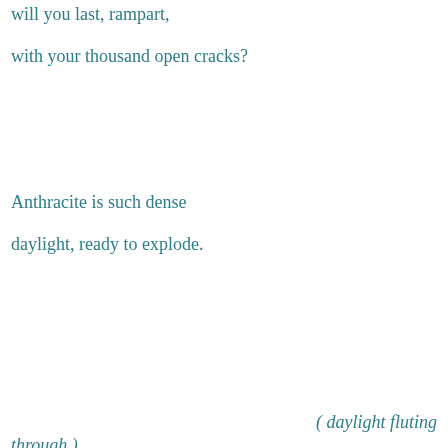will you last, rampart,
with your thousand open cracks?
Anthracite is such dense
daylight, ready to explode.
( daylight fluting through )